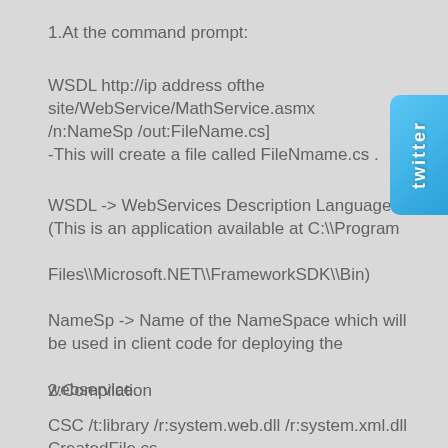1.At the command prompt:
WSDL http://ip address ofthe site/WebService/MathService.asmx /n:NameSp /out:FileName.cs]
-This will create a file called FileNmame.cs .
WSDL -> WebServices Description Language (This is an application available at C:\\Program Files\\Microsoft.NET\\FrameworkSDK\\Bin)
NameSp -> Name of the NameSpace which will be used in client code for deploying the webservice.
2.Compilation
CSC /t:library /r:system.web.dll /r:system.xml.dll CreatedFile.cs
[Figure (logo): Twitter badge/logo displayed vertically on the right side]